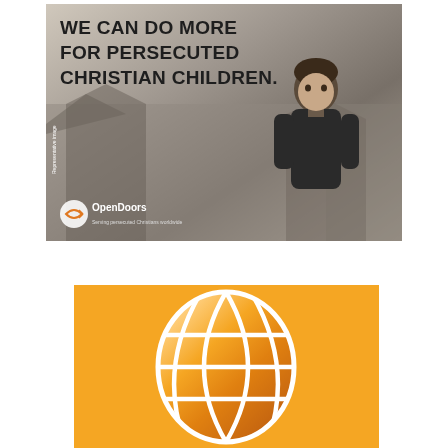[Figure (photo): Open Doors advertisement photo showing a young boy in front of rubble with bold text 'WE CAN DO MORE FOR PERSECUTED CHRISTIAN CHILDREN.' and the Open Doors logo at the bottom left.]
[Figure (logo): Open Doors orange globe/egg-shaped logo on an orange background.]